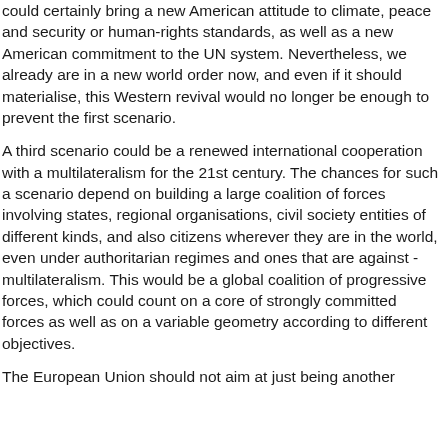could certainly bring a new American attitude to climate, peace and security or human-rights standards, as well as a new American commitment to the UN system. Nevertheless, we already are in a new world order now, and even if it should materialise, this Western revival would no longer be enough to prevent the first scenario.
A third scenario could be a renewed international cooperation with a multilateralism for the 21st century. The chances for such a scenario depend on building a large coalition of forces involving states, regional organisations, civil society entities of different kinds, and also citizens wherever they are in the world, even under authoritarian regimes and ones that are against -multilateralism. This would be a global coalition of progressive forces, which could count on a core of strongly committed forces as well as on a variable geometry according to different objectives.
The European Union should not aim at just being another